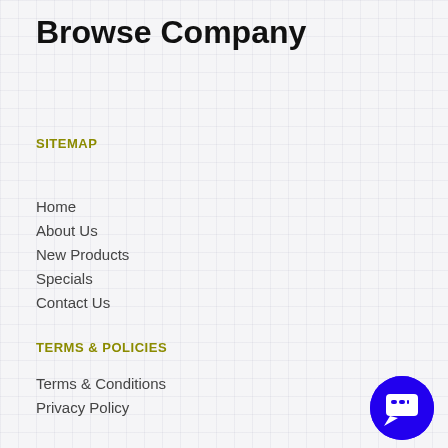Browse Company
SITEMAP
Home
About Us
New Products
Specials
Contact Us
TERMS & POLICIES
Terms & Conditions
Privacy Policy
Return Policy
Shipping Policy
HELP & SUPPORT
FAQ
How to Order
Request for Quote